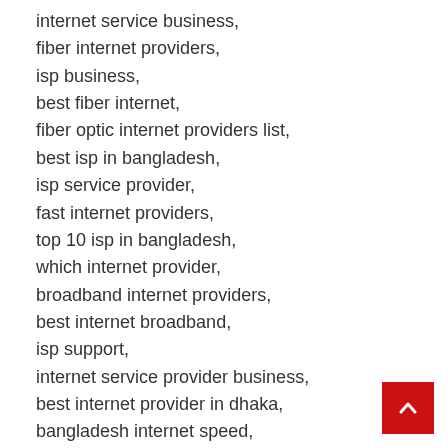internet service business,
fiber internet providers,
isp business,
best fiber internet,
fiber optic internet providers list,
best isp in bangladesh,
isp service provider,
fast internet providers,
top 10 isp in bangladesh,
which internet provider,
broadband internet providers,
best internet broadband,
isp support,
internet service provider business,
best internet provider in dhaka,
bangladesh internet speed,
your isp,
isp list in bangladesh,
top isp,
isp in dhaka,